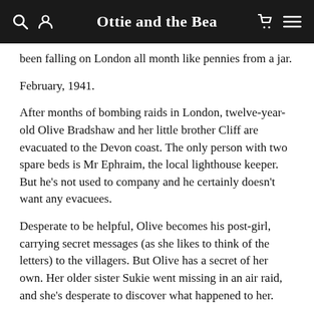Ottie and the Bea
been falling on London all month like pennies from a jar.
February, 1941.
After months of bombing raids in London, twelve-year-old Olive Bradshaw and her little brother Cliff are evacuated to the Devon coast. The only person with two spare beds is Mr Ephraim, the local lighthouse keeper. But he's not used to company and he certainly doesn't want any evacuees.
Desperate to be helpful, Olive becomes his post-girl, carrying secret messages (as she likes to think of the letters) to the villagers. But Olive has a secret of her own. Her older sister Sukie went missing in an air raid, and she's desperate to discover what happened to her.
Then she finds a strange coded note – a note that changes everything and which seems to link Sukie to Devon, and to something dark and impossibly dangerous